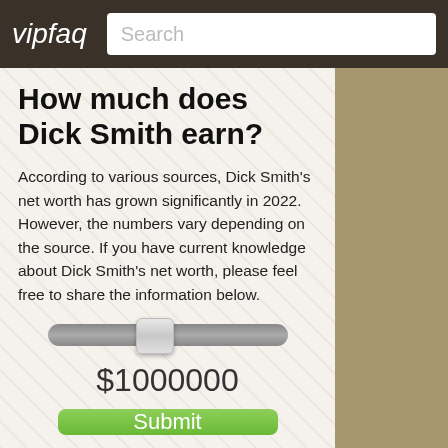vipfaq | Search
How much does Dick Smith earn?
According to various sources, Dick Smith's net worth has grown significantly in 2022. However, the numbers vary depending on the source. If you have current knowledge about Dick Smith's net worth, please feel free to share the information below.
[Figure (other): A horizontal slider control with a thumb positioned slightly left of center, showing a value of $1000000 below it]
$1000000
Submit